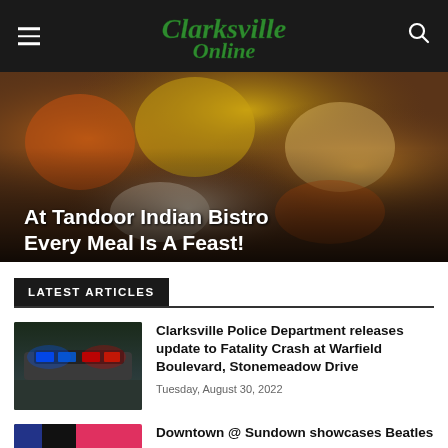Clarksville Online
[Figure (photo): Advertisement banner for Tandoor Indian Bistro showing various Indian dishes including chicken curry, yellow rice, naan bread, and other items with text overlay 'At Tandoor Indian Bistro Every Meal Is A Feast!']
LATEST ARTICLES
[Figure (photo): Police car with blue and red LED lights on the roof, dark background]
Clarksville Police Department releases update to Fatality Crash at Warfield Boulevard, Stonemeadow Drive
Tuesday, August 30, 2022
[Figure (photo): Split image with black and blue sections on left and pink/red section on right]
Downtown @ Sundown showcases Beatles